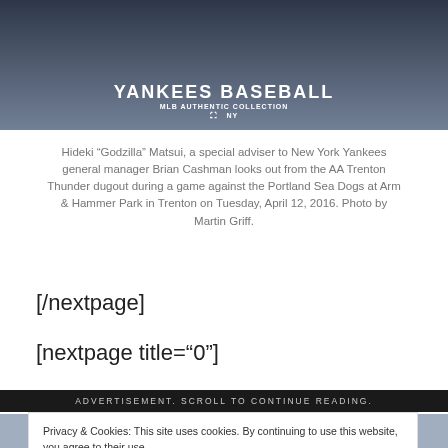[Figure (photo): Photo of person wearing Yankees Baseball MLB Authentic Collection jersey/sweatshirt, cropped to show torso]
Hideki “Godzilla” Matsui, a special adviser to New York Yankees general manager Brian Cashman looks out from the AA Trenton Thunder dugout during a game against the Portland Sea Dogs at Arm & Hammer Park in Trenton on Tuesday, April 12, 2016. Photo by Martin Griff.
[/nextpage]
[nextpage title=“0”]
ADVERTISEMENT. SCROLL TO CONTINUE READING.
Privacy & Cookies: This site uses cookies. By continuing to use this website, you agree to their use.
To find out more, including how to control cookies, see here: Cookie Policy
[Figure (photo): Partial photo at bottom of page showing person(s), cropped]